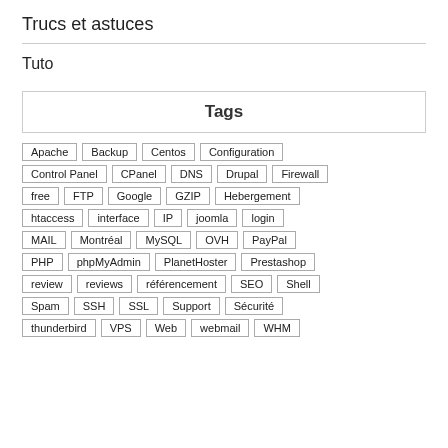Trucs et astuces
Tuto
Tags
Apache
Backup
Centos
Configuration
Control Panel
CPanel
DNS
Drupal
Firewall
free
FTP
Google
GZIP
Hebergement
htaccess
interface
IP
joomla
login
MAIL
Montréal
MySQL
OVH
PayPal
PHP
phpMyAdmin
PlanetHoster
Prestashop
review
reviews
référencement
SEO
Shell
Spam
SSH
SSL
Support
Sécurité
thunderbird
VPS
Web
webmail
WHM